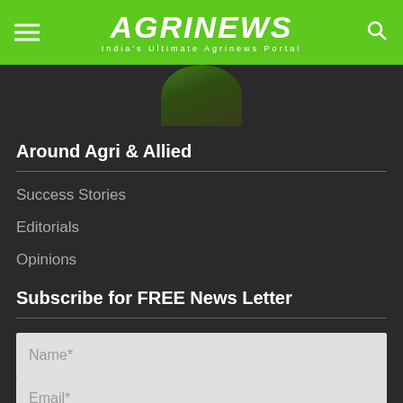AGRINEWS — India's Ultimate Agrinews Portal
[Figure (photo): Circular crop photo showing agricultural scene with animals/crops]
Around Agri & Allied
Success Stories
Editorials
Opinions
Subscribe for FREE News Letter
Name*
Email*